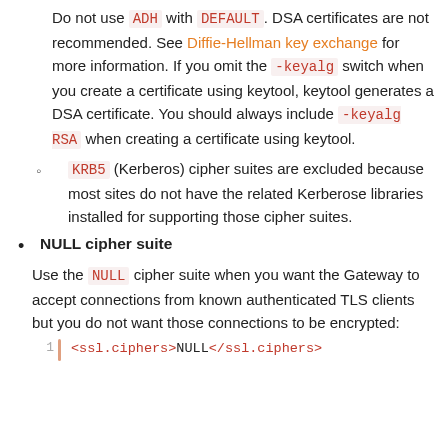Do not use ADH with DEFAULT. DSA certificates are not recommended. See Diffie-Hellman key exchange for more information. If you omit the -keyalg switch when you create a certificate using keytool, keytool generates a DSA certificate. You should always include -keyalg RSA when creating a certificate using keytool.
KRB5 (Kerberos) cipher suites are excluded because most sites do not have the related Kerberose libraries installed for supporting those cipher suites.
NULL cipher suite
Use the NULL cipher suite when you want the Gateway to accept connections from known authenticated TLS clients but you do not want those connections to be encrypted:
<ssl.ciphers>NULL</ssl.ciphers>